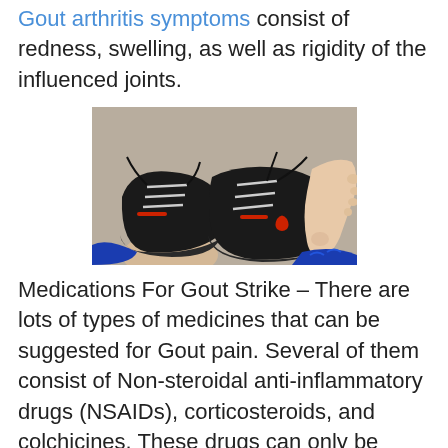Gout arthritis symptoms consist of redness, swelling, as well as rigidity of the influenced joints.
[Figure (photo): A photo showing two feet side by side on a grey surface — one foot wearing a black athletic sneaker (with red accents and an Under Armour logo), the other foot bare, showing the ankle and toes. A blue sleeve is visible at the bottom right. The image relates to gout affecting feet and joints.]
Medications For Gout Strike – There are lots of types of medicines that can be suggested for Gout pain. Several of them consist of Non-steroidal anti-inflammatory drugs (NSAIDs), corticosteroids, and colchicines. These drugs can only be taken by mouth or